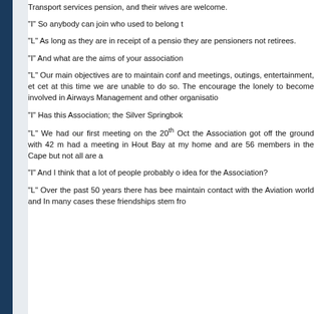Transport services pension, and their wives are welcome.
“I” So anybody can join who used to belong t
“L” As long as they are in receipt of a pensio they are pensioners not retirees.
“I” And what are the aims of your association
“L” Our main objectives are to maintain conf and meetings, outings, entertainment, et cet at this time we are unable to do so. The encourage the lonely to become involved in Airways Management and other organisatio
“I” Has this Association; the Silver Springbok
“L” We had our first meeting on the 20th Oct the Association got off the ground with 42 m had a meeting in Hout Bay at my home and are 56 members in the Cape but not all are a
“I” And I think that a lot of people probably o idea for the Association?
“L” Over the past 50 years there has bee maintain contact with the Aviation world and In many cases these friendships stem fro